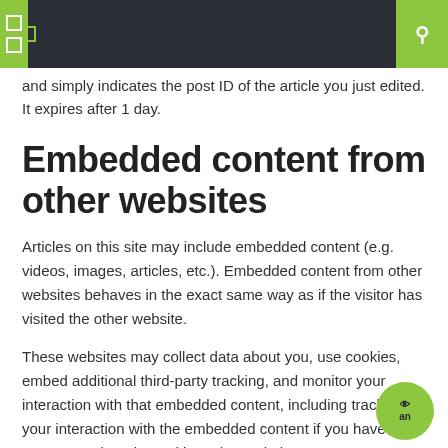and simply indicates the post ID of the article you just edited. It expires after 1 day.
Embedded content from other websites
Articles on this site may include embedded content (e.g. videos, images, articles, etc.). Embedded content from other websites behaves in the exact same way as if the visitor has visited the other website.
These websites may collect data about you, use cookies, embed additional third-party tracking, and monitor your interaction with that embedded content, including tracking your interaction with the embedded content if you have an account and are logged in to that website.